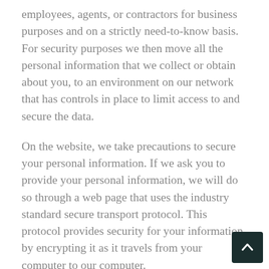employees, agents, or contractors for business purposes and on a strictly need-to-know basis. For security purposes we then move all the personal information that we collect or obtain about you, to an environment on our network that has controls in place to limit access to and secure the data.
On the website, we take precautions to secure your personal information. If we ask you to provide your personal information, we will do so through a web page that uses the industry standard secure transport protocol. This protocol provides security for your information by encrypting it as it travels from your computer to our computer.
To protect your privacy and security, we will also take reasonable steps to verify your identity before granting access to or making alterations to data we maintain.
has adopted a security model to protect your personal